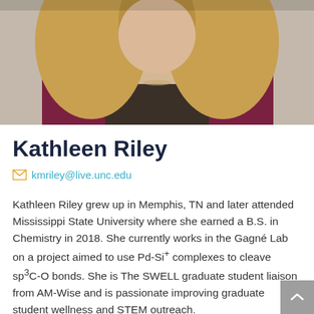[Figure (photo): Headshot photo of Kathleen Riley, a young woman with blonde hair wearing a dark shirt and maroon cardigan]
Kathleen Riley
kmriley@live.unc.edu
Kathleen Riley grew up in Memphis, TN and later attended Mississippi State University where she earned a B.S. in Chemistry in 2018. She currently works in the Gagné Lab on a project aimed to use Pd-Si⁺ complexes to cleave sp³C-O bonds. She is The SWELL graduate student liaison from AM-Wise and is passionate improving graduate student wellness and STEM outreach.